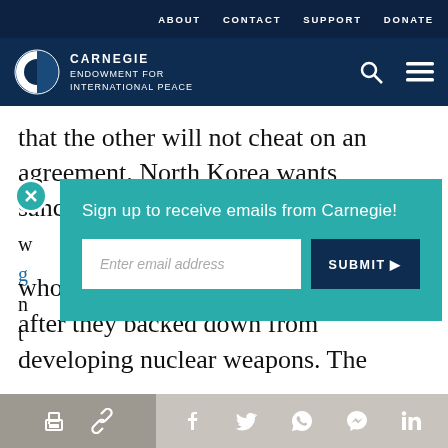ABOUT   CONTACT   SUPPORT   DONATE
[Figure (logo): Carnegie Endowment for International Peace logo with navigation icons (search, menu)]
that the other will not cheat on an agreement. North Korea wants sanctions relief. The United States
[Figure (screenshot): Email signup popup overlay with teal background, close button, text 'Sign up to receive emails from Carnegie!', email input field, and SUBMIT button]
whom saw their regimes overthrown after they backed down from developing nuclear weapons. The
Share icons: print, link, facebook, twitter, whatsapp, messenger, linkedin